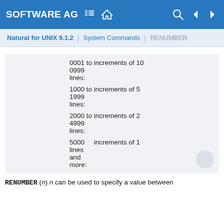SOFTWARE AG
Natural for UNIX 9.1.2 | System Commands | RENUMBER
|  |  |
| --- | --- |
|  | 0001 to increments of 10
0999
lines: |
|  | 1000 to increments of 5
1999
lines: |
|  | 2000 to increments of 2
4999
lines: |
|  | 5000   increments of 1
lines
and
more: |
RENUMBER (n) n can be used to specify a value between